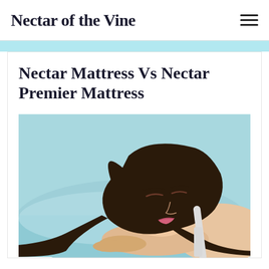Nectar of the Vine
Nectar Mattress Vs Nectar Premier Mattress
[Figure (photo): Woman sleeping on a bed with light blue/teal bedding and pillow, dark hair, eyes closed, resting her head on her hands]